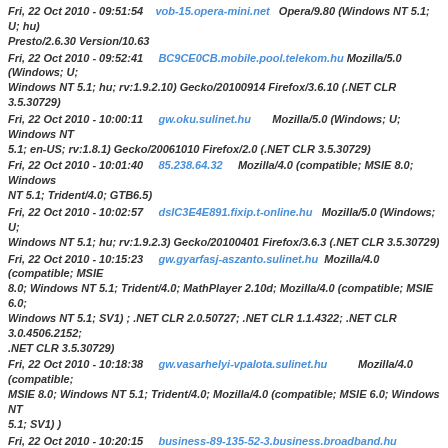Fri, 22 Oct 2010 - 09:51:54    vob-15.opera-mini.net   Opera/9.80 (Windows NT 5.1; U; hu) Presto/2.6.30 Version/10.63
Fri, 22 Oct 2010 - 09:52:41    BC9CE0CB.mobile.pool.telekom.hu Mozilla/5.0 (Windows; U; Windows NT 5.1; hu; rv:1.9.2.10) Gecko/20100914 Firefox/3.6.10 (.NET CLR 3.5.30729)
Fri, 22 Oct 2010 - 10:00:11    gw.oku.sulinet.hu        Mozilla/5.0 (Windows; U; Windows NT 5.1; en-US; rv:1.8.1) Gecko/20061010 Firefox/2.0 (.NET CLR 3.5.30729)
Fri, 22 Oct 2010 - 10:01:40    85.238.64.32    Mozilla/4.0 (compatible; MSIE 8.0; Windows NT 5.1; Trident/4.0; GTB6.5)
Fri, 22 Oct 2010 - 10:02:57    dsIC3E4E891.fixip.t-online.hu   Mozilla/5.0 (Windows; U; Windows NT 5.1; hu; rv:1.9.2.3) Gecko/20100401 Firefox/3.6.3 (.NET CLR 3.5.30729)
Fri, 22 Oct 2010 - 10:15:23    gw.gyarfasj-aszanto.sulinet.hu  Mozilla/4.0 (compatible; MSIE 8.0; Windows NT 5.1; Trident/4.0; MathPlayer 2.10d; Mozilla/4.0 (compatible; MSIE 6.0; Windows NT 5.1; SV1) ; .NET CLR 2.0.50727; .NET CLR 1.1.4322; .NET CLR 3.0.4506.2152; .NET CLR 3.5.30729)
Fri, 22 Oct 2010 - 10:18:38    gw.vasarhelyi-vpalota.sulinet.hu         Mozilla/4.0 (compatible; MSIE 8.0; Windows NT 5.1; Trident/4.0; Mozilla/4.0 (compatible; MSIE 6.0; Windows NT 5.1; SV1) )
Fri, 22 Oct 2010 - 10:20:15    business-89-135-52-3.business.broadband.hu       Mozilla/4.0 (compatible; MSIE 7.0; Windows NT 5.1; Trident/4.0; .NET CLR 2.0.50727; .NET CLR 3.0.4506.2152; .NET CLR 3.5.30729)
Fri, 22 Oct 2010 - 10:26:20    ns.bkf.hu        Mozilla/5.0 (Windows; U; Windows NT 5.1; en-US) AppleWebKit/534.7 (KHTML